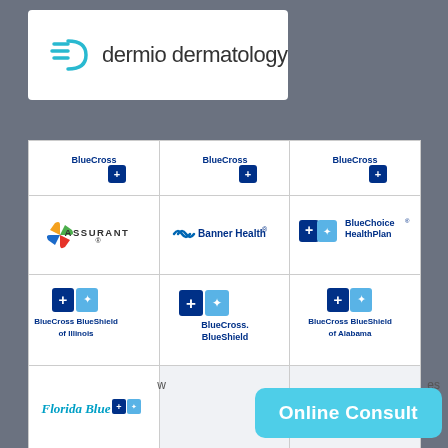[Figure (logo): Dermio Dermatology logo with teal D icon and text 'dermio dermatology']
[Figure (infographic): Grid of insurance provider logos including BlueCross, Assurant, Banner Health, BlueChoice HealthPlan, BlueCross BlueShield of Illinois, BlueCross BlueShield, BlueCross BlueShield of Alabama, Florida Blue]
Online Consult